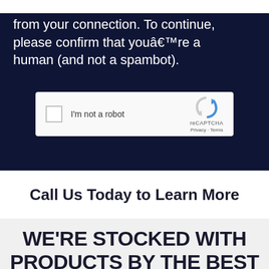from your connection. To continue, please confirm that youâre a human (and not a spambot).
[Figure (screenshot): reCAPTCHA widget with checkbox labeled 'I'm not a robot' and reCAPTCHA logo with Privacy and Terms links]
Call Us Today to Learn More
WE'RE STOCKED WITH PRODUCTS BY THE BEST